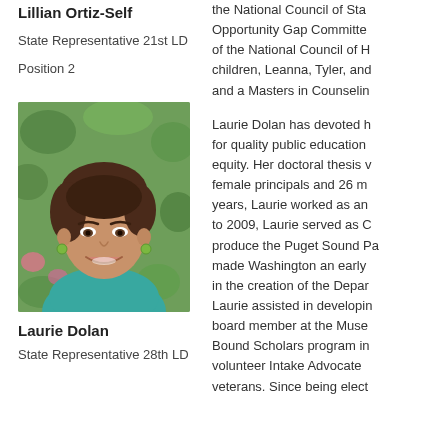Lillian Ortiz-Self
State Representative 21st LD
Position 2
[Figure (photo): Portrait photo of Laurie Dolan, a woman with short brown hair wearing a teal top, smiling outdoors with green foliage in the background.]
Laurie Dolan
State Representative 28th LD
the National Council of State... Opportunity Gap Committee... of the National Council of H... children, Leanna, Tyler, and... and a Masters in Counselin...
Laurie Dolan has devoted h... for quality public education... equity. Her doctoral thesis v... female principals and 26 m... years, Laurie worked as an... to 2009, Laurie served as C... produce the Puget Sound Pa... made Washington an early... in the creation of the Depar... Laurie assisted in developin... board member at the Muse... Bound Scholars program in... volunteer Intake Advocate... veterans. Since being elect...